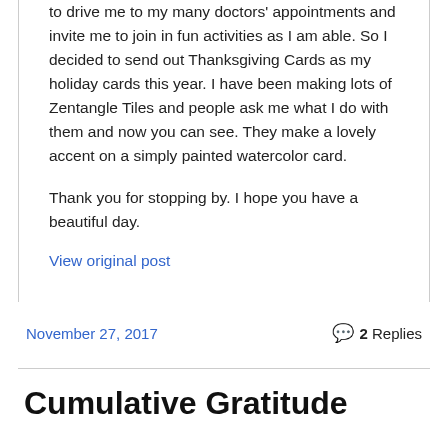to drive me to my many doctors' appointments and invite me to join in fun activities as I am able. So I decided to send out Thanksgiving Cards as my holiday cards this year. I have been making lots of Zentangle Tiles and people ask me what I do with them and now you can see. They make a lovely accent on a simply painted watercolor card.
Thank you for stopping by. I hope you have a beautiful day.
View original post
November 27, 2017
2 Replies
Cumulative Gratitude